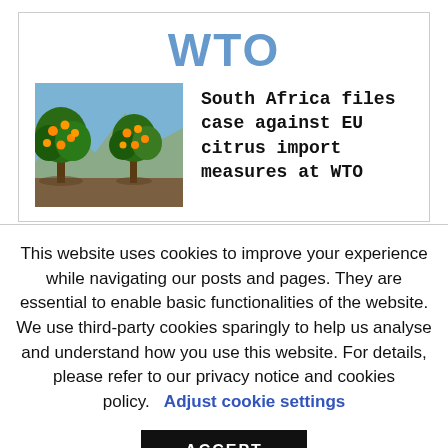WTO
[Figure (photo): Citrus orange tree grove with green foliage and bright orange fruits, mountains visible in background]
South Africa files case against EU citrus import measures at WTO
This website uses cookies to improve your experience while navigating our posts and pages. They are essential to enable basic functionalities of the website. We use third-party cookies sparingly to help us analyse and understand how you use this website. For details, please refer to our privacy notice and cookies policy.   Adjust cookie settings
ACCEPT